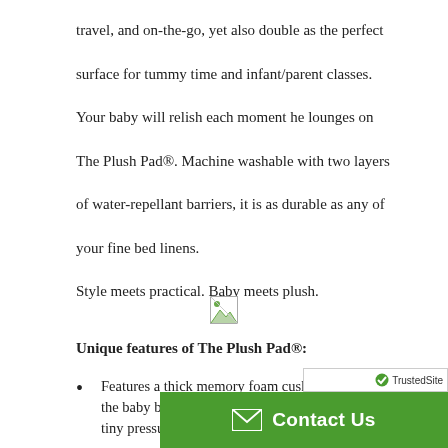travel, and on-the-go, yet also double as the perfect surface for tummy time and infant/parent classes.

Your baby will relish each moment he lounges on The Plush Pad®. Machine washable with two layers of water-repellant barriers, it is as durable as any of your fine bed linens.

Style meets practical. Baby meets plush.
[Figure (illustration): Small broken image placeholder icon, centered on the page]
Unique features of The Plush Pad®:
Features a thick memory foam cushion that relaxes the baby by molding to his curves and relieving tiny pressure points; baby will relish the...